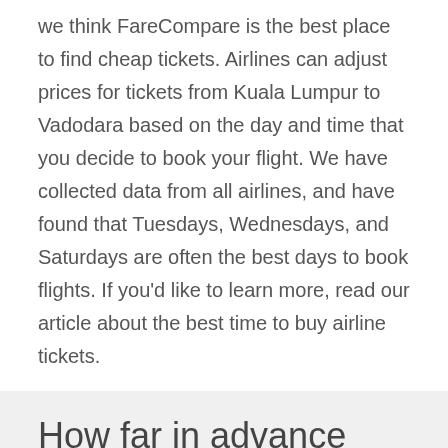we think FareCompare is the best place to find cheap tickets. Airlines can adjust prices for tickets from Kuala Lumpur to Vadodara based on the day and time that you decide to book your flight. We have collected data from all airlines, and have found that Tuesdays, Wednesdays, and Saturdays are often the best days to book flights. If you'd like to learn more, read our article about the best time to buy airline tickets.
How far in advance should I book tickets from Kuala Lumpur to Vadodara?